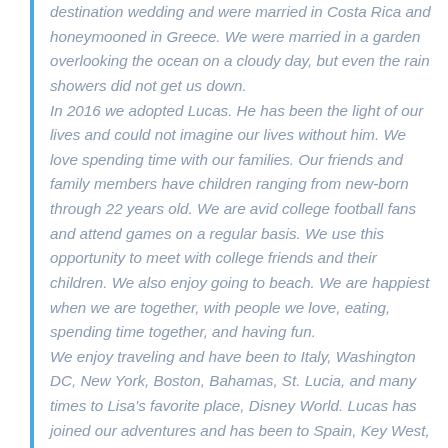destination wedding and were married in Costa Rica and honeymooned in Greece. We were married in a garden overlooking the ocean on a cloudy day, but even the rain showers did not get us down. In 2016 we adopted Lucas. He has been the light of our lives and could not imagine our lives without him. We love spending time with our families. Our friends and family members have children ranging from new-born through 22 years old. We are avid college football fans and attend games on a regular basis. We use this opportunity to meet with college friends and their children. We also enjoy going to beach. We are happiest when we are together, with people we love, eating, spending time together, and having fun. We enjoy traveling and have been to Italy, Washington DC, New York, Boston, Bahamas, St. Lucia, and many times to Lisa's favorite place, Disney World. Lucas has joined our adventures and has been to Spain, Key West, Sarasota